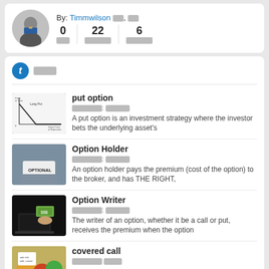By: Timmwilson
0 [redacted] | 22 [redacted] | 6 [redacted]
[Figure (illustration): Circular icon with letter t on blue background]
[redacted list title]
[Figure (illustration): Put option payoff diagram chart]
put option
A put option is an investment strategy where the investor bets the underlying asset's
[Figure (photo): Person holding a card that says OPTIONAL]
Option Holder
An option holder pays the premium (cost of the option) to the broker, and has THE RIGHT,
[Figure (photo): Hand pulling money out of laptop]
Option Writer
The writer of an option, whether it be a call or put, receives the premium when the option
[Figure (photo): Covered call related image]
covered call